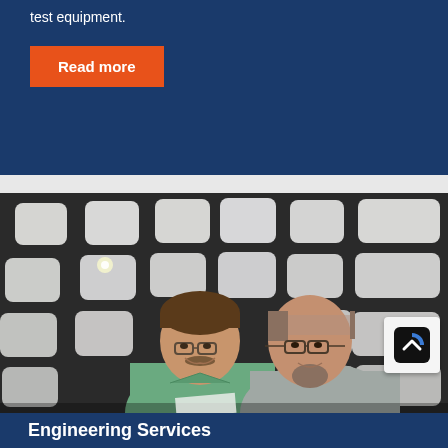test equipment.
Read more
[Figure (photo): Two men standing in an anechoic chamber with white acoustic foam tiles on dark walls, both smiling and looking downward at something off-screen. Left man wears a green shirt, right man wears a gray shirt and glasses.]
Engineering Services